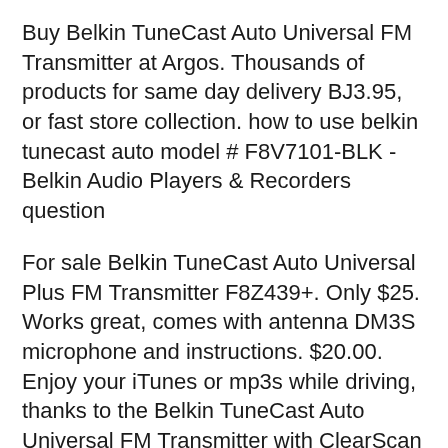Buy Belkin TuneCast Auto Universal FM Transmitter at Argos. Thousands of products for same day delivery BJ3.95, or fast store collection. how to use belkin tunecast auto model # F8V7101-BLK - Belkin Audio Players & Recorders question
For sale Belkin TuneCast Auto Universal Plus FM Transmitter F8Z439+. Only $25. Works great, comes with antenna DM3S microphone and instructions. $20.00. Enjoy your iTunes or mp3s while driving, thanks to the Belkin TuneCast Auto Universal FM Transmitter with ClearScan technology. If your car has an RDS-enabled stereo